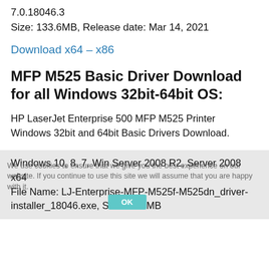7.0.18046.3
Size: 133.6MB, Release date: Mar 14, 2021
Download x64 – x86
MFP M525 Basic Driver Download for all Windows 32bit-64bit OS:
HP LaserJet Enterprise 500 MFP M525 Printer Windows 32bit and 64bit Basic Drivers Download.
Windows 10, 8, 7, Win Server 2008 R2, Server 2008 x64
File Name: LJ-Enterprise-MFP-M525f-M525dn_driver-installer_18046.exe, Size: 44.3MB
We use cookies to ensure that we give you the best experience on our website. If you continue to use this site we will assume that you are happy with it.
OK